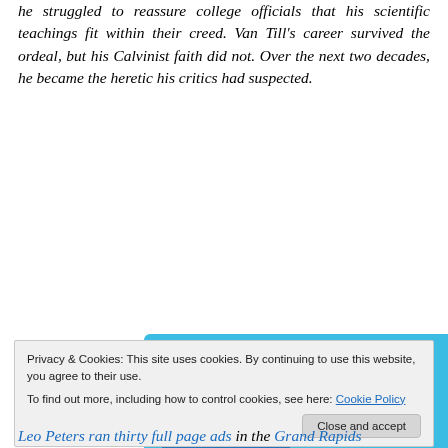he struggled to reassure college officials that his scientific teachings fit within their creed. Van Till's career survived the ordeal, but his Calvinist faith did not. Over the next two decades, he became the heretic his critics had suspected.
[Figure (screenshot): Advertisement for Day One journal app showing a smartphone screenshot of the app interface on the left and the Day One logo with tagline 'Your Journal for life' on a blue background on the right.]
Privacy & Cookies: This site uses cookies. By continuing to use this website, you agree to their use. To find out more, including how to control cookies, see here: Cookie Policy
Leo Peters ran thirty full page ads in the Grand Rapids